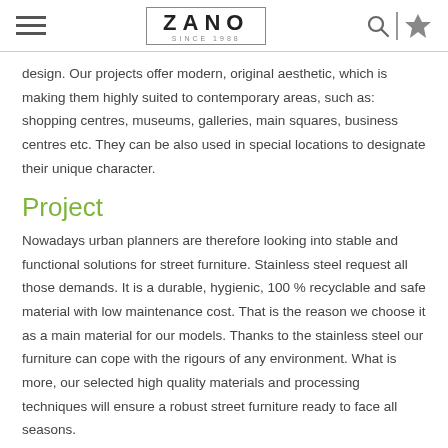ZANO SINCE 1988
design. Our projects offer modern, original aesthetic, which is making them highly suited to contemporary areas, such as: shopping centres, museums, galleries, main squares, business centres etc. They can be also used in special locations to designate their unique character.
Project
Nowadays urban planners are therefore looking into stable and functional solutions for street furniture. Stainless steel request all those demands. It is a durable, hygienic, 100 % recyclable and safe material with low maintenance cost. That is the reason we choose it as a main material for our models. Thanks to the stainless steel our furniture can cope with the rigours of any environment. What is more, our selected high quality materials and processing techniques will ensure a robust street furniture ready to face all seasons.
Accomplishment
Our street furniture models can stand as an individual components, or together...